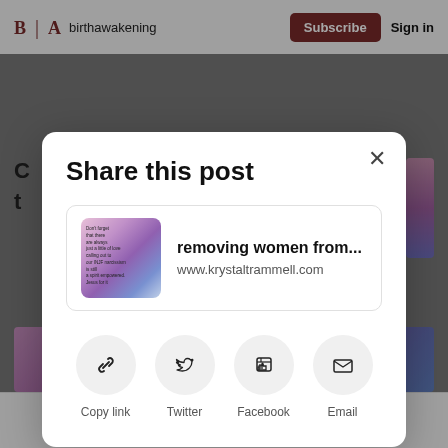B | A  birthawakening  Subscribe  Sign in
[Figure (screenshot): Share this post modal dialog on birthawakening website showing a link preview card for 'removing women from...' at www.krystaltrammell.com, with share buttons for Copy link, Twitter, Facebook, and Email]
removing women from...
www.krystaltrammell.com
Copy link
Twitter
Facebook
Email
so easily overpowered.